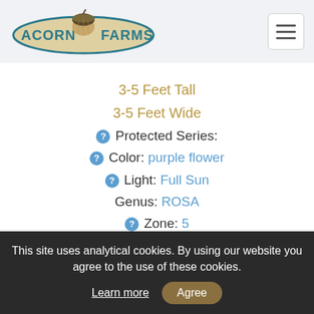Acorn Farms
3-5 Feet Tall
3-5 Feet Wide
Protected Series:
Color: purple flower
Light: Full Sun
Genus: ROSA
Zone: 5
ROSE
#7521
This site uses analytical cookies. By using our website you agree to the use of these cookies. Learn more  Agree